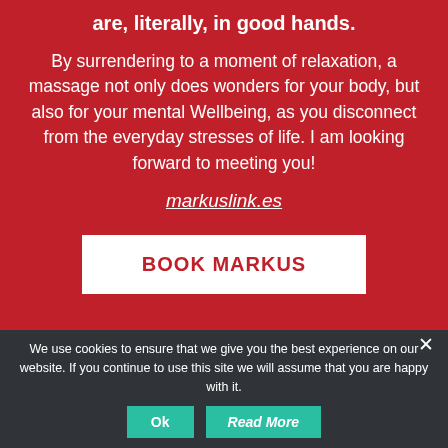are, literally, in good hands.
By surrendering to a moment of relaxation, a massage not only does wonders for your body, but also for your mental Wellbeing, as you disconnect from the everyday stresses of life. I am looking forward to meeting you!
markuslink.es
BOOK MARKUS
We use cookies to ensure that we give you the best experience on our website. If you continue to use this site we will assume that you are happy with it.
Ok
Read More